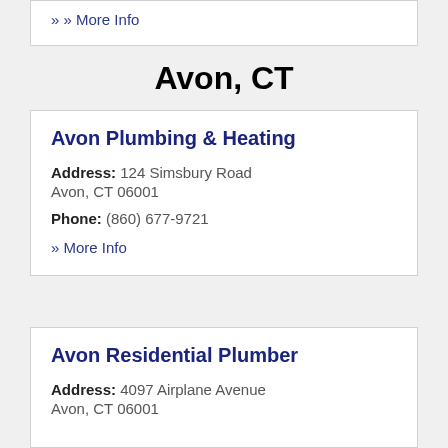» More Info
Avon, CT
Avon Plumbing & Heating
Address: 124 Simsbury Road Avon, CT 06001
Phone: (860) 677-9721
» More Info
Avon Residential Plumber
Address: 4097 Airplane Avenue Avon, CT 06001